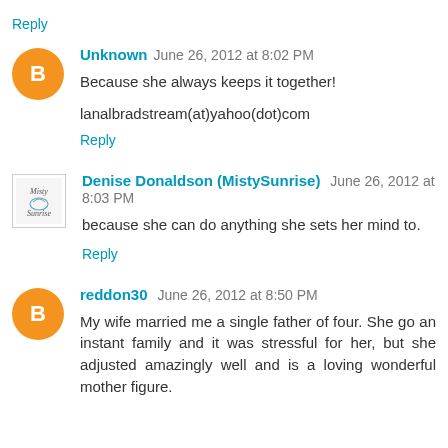Reply
Unknown   June 26, 2012 at 8:02 PM
Because she always keeps it together!

lanalbradstream(at)yahoo(dot)com
Reply
Denise Donaldson (MistySunrise)   June 26, 2012 at 8:03 PM
because she can do anything she sets her mind to.
Reply
reddon30   June 26, 2012 at 8:50 PM
My wife married me a single father of four. She go an instant family and it was stressful for her, but she adjusted amazingly well and is a loving wonderful mother figure.